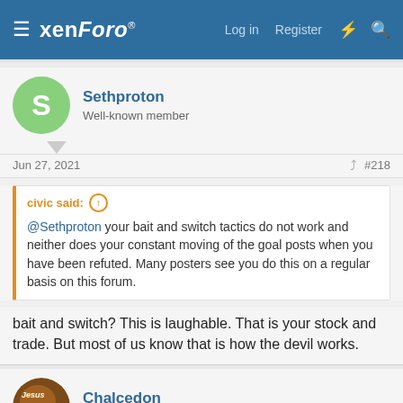xenForo — Log in  Register
Sethproton
Well-known member
Jun 27, 2021  #218
civic said:
@Sethproton your bait and switch tactics do not work and neither does your constant moving of the goal posts when you have been refuted. Many posters see you do this on a regular basis on this forum.
bait and switch? This is laughable. That is your stock and trade. But most of us know that is how the devil works.
Chalcedon
Well-known member